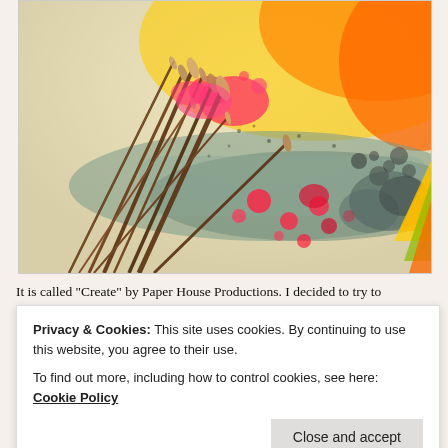[Figure (photo): A photograph of artist paintbrushes laid on a colorful painted surface with splashes of pink/red, teal/grey, yellow, and orange watercolor or acrylic paint.]
It is called “Create” by Paper House Productions.  I decided to try to
Privacy & Cookies: This site uses cookies. By continuing to use this website, you agree to their use.
To find out more, including how to control cookies, see here: Cookie Policy
called Decorative Flower Pot.  The banner tag I used for my